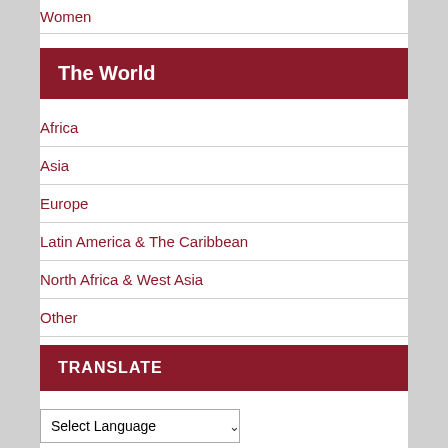Women
The World
Africa
Asia
Europe
Latin America & The Caribbean
North Africa & West Asia
Other
TRANSLATE
Select Language — Powered by Google Translate